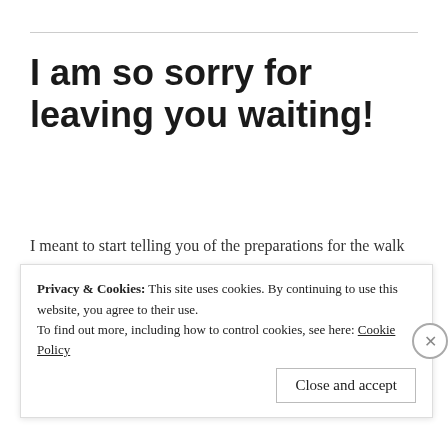I am so sorry for leaving you waiting!
I meant to start telling you of the preparations for the walk that started in 2018….but as I am very prone to do ……
I got sidetracked!
Privacy & Cookies: This site uses cookies. By continuing to use this website, you agree to their use. To find out more, including how to control cookies, see here: Cookie Policy